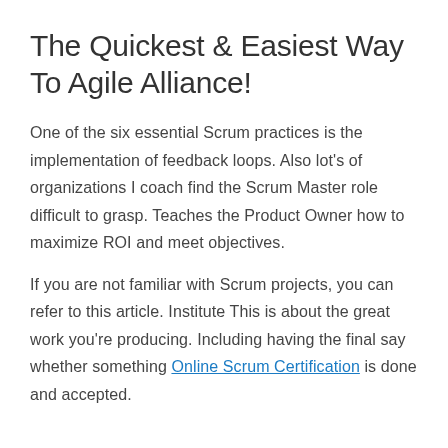The Quickest & Easiest Way To Agile Alliance!
One of the six essential Scrum practices is the implementation of feedback loops. Also lot's of organizations I coach find the Scrum Master role difficult to grasp. Teaches the Product Owner how to maximize ROI and meet objectives.
If you are not familiar with Scrum projects, you can refer to this article. Institute This is about the great work you're producing. Including having the final say whether something Online Scrum Certification is done and accepted.